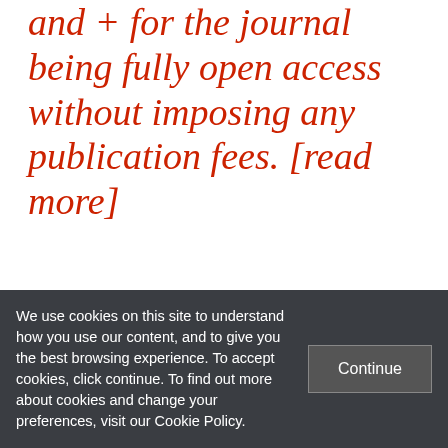and + for the journal being fully open access without imposing any publication fees. [read more]
[Figure (other): Decorative closing quotation marks in grey]
[Figure (table-as-image): Partial screenshot of a table showing reader rights, reuse rights, copyrights, author posting rights, automatic posting, and machine readability columns with a lock icon]
We use cookies on this site to understand how you use our content, and to give you the best browsing experience. To accept cookies, click continue. To find out more about cookies and change your preferences, visit our Cookie Policy.